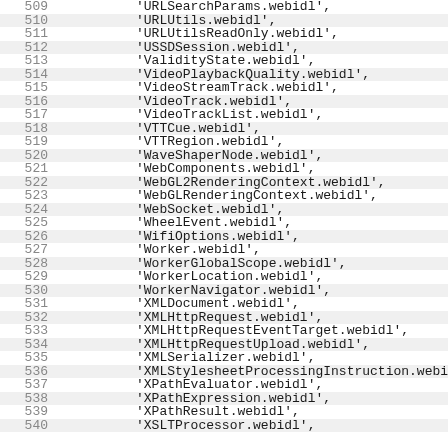Code listing lines 509-540 showing webidl file references
509   'URLSearchParams.webidl',
510   'URLUtils.webidl',
511   'URLUtilsReadOnly.webidl',
512   'USSDSession.webidl',
513   'ValidityState.webidl',
514   'VideoPlaybackQuality.webidl',
515   'VideoStreamTrack.webidl',
516   'VideoTrack.webidl',
517   'VideoTrackList.webidl',
518   'VTTCue.webidl',
519   'VTTRegion.webidl',
520   'WaveShaperNode.webidl',
521   'WebComponents.webidl',
522   'WebGL2RenderingContext.webidl',
523   'WebGLRenderingContext.webidl',
524   'WebSocket.webidl',
525   'WheelEvent.webidl',
526   'WifiOptions.webidl',
527   'Worker.webidl',
528   'WorkerGlobalScope.webidl',
529   'WorkerLocation.webidl',
530   'WorkerNavigator.webidl',
531   'XMLDocument.webidl',
532   'XMLHttpRequest.webidl',
533   'XMLHttpRequestEventTarget.webidl',
534   'XMLHttpRequestUpload.webidl',
535   'XMLSerializer.webidl',
536   'XMLStylesheetProcessingInstruction.webidl',
537   'XPathEvaluator.webidl',
538   'XPathExpression.webidl',
539   'XPathResult.webidl',
540   'XSLTProcessor.webidl',